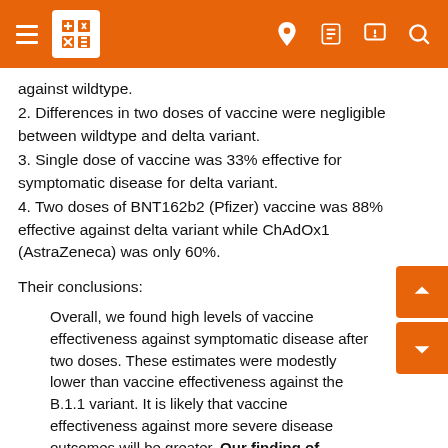MedPage / News article header with navigation
against wildtype.
2. Differences in two doses of vaccine were negligible between wildtype and delta variant.
3. Single dose of vaccine was 33% effective for symptomatic disease for delta variant.
4. Two doses of BNT162b2 (Pfizer) vaccine was 88% effective against delta variant while ChAdOx1 (AstraZeneca) was only 60%.
Their conclusions:
Overall, we found high levels of vaccine effectiveness against symptomatic disease after two doses. These estimates were modestly lower than vaccine effectiveness against the B.1.1 variant. It is likely that vaccine effectiveness against more severe disease outcomes will be greater. Our finding of reduced effectiveness after dose 1, would support maximising vaccine uptake with two doses among vulnerable groups in the context of circulation of B.1.617.2.
I've tried to look at the Israeli study that everyone is quoting, but I